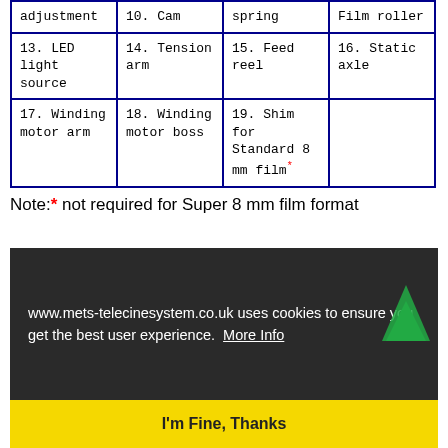| adjustment | 10. Cam | spring | Film roller |
| 13. LED light source | 14. Tension arm | 15. Feed reel | 16. Static axle |
| 17. Winding motor arm | 18. Winding motor boss | 19. Shim for Standard 8 mm film* |  |
Note:* not required for Super 8 mm film format
[Figure (screenshot): Screenshot of www.mets-telecinesystem.co.uk cookie consent overlay with dark background showing cookie notice text and a yellow 'I'm Fine, Thanks' button. An upward-pointing green triangle arrow is visible at the bottom right.]